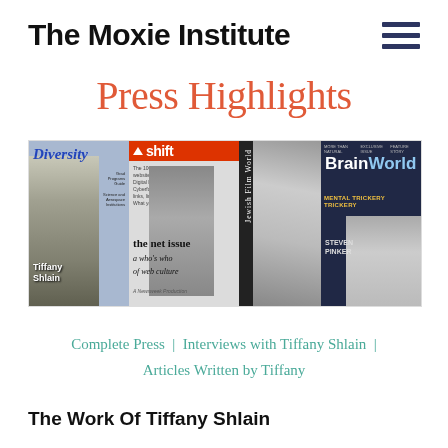The Moxie Institute
Press Highlights
[Figure (photo): A collage of four magazine covers featuring Tiffany Shlain: Diversity, Shift (the net issue), Jewish Film World, and Brain World]
Complete Press | Interviews with Tiffany Shlain | Articles Written by Tiffany
The Work Of Tiffany Shlain